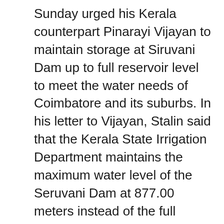Sunday urged his Kerala counterpart Pinarayi Vijayan to maintain storage at Siruvani Dam up to full reservoir level to meet the water needs of Coimbatore and its suburbs. In his letter to Vijayan, Stalin said that the Kerala State Irrigation Department maintains the maximum water level of the Seruvani Dam at 877.00 meters instead of the full reservoir level (FRL) at 878.50 metres, as stipulated in the agreement between the states.
Lowering the water level by 1.5 meters results in a shortage of 122.05 million cubic feet of water, which represents 19 percent of the total storage. This creates difficulties in meeting the needs of Coimbatore in the summer months. Over the past six years, the country has received water only in the range